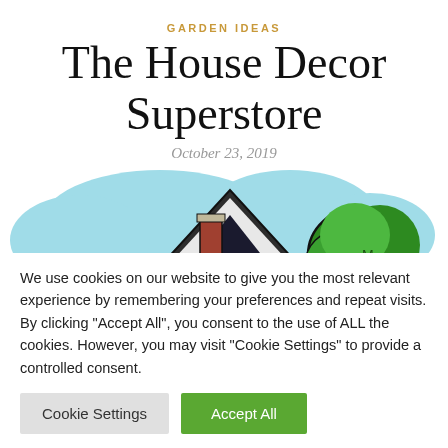GARDEN IDEAS
The House Decor Superstore
October 23, 2019
[Figure (illustration): Clipart illustration of a house with a triangular dark roof, brown chimney, light blue sky/clouds behind, and a green tree to the right]
We use cookies on our website to give you the most relevant experience by remembering your preferences and repeat visits. By clicking “Accept All”, you consent to the use of ALL the cookies. However, you may visit "Cookie Settings" to provide a controlled consent.
Cookie Settings   Accept All